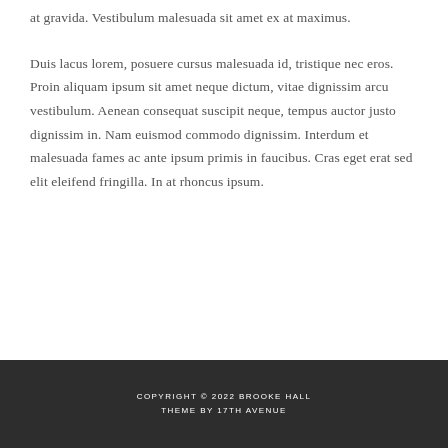at gravida. Vestibulum malesuada sit amet ex at maximus.
Duis lacus lorem, posuere cursus malesuada id, tristique nec eros. Proin aliquam ipsum sit amet neque dictum, vitae dignissim arcu vestibulum. Aenean consequat suscipit neque, tempus auctor justo dignissim in. Nam euismod commodo dignissim. Interdum et malesuada fames ac ante ipsum primis in faucibus. Cras eget erat sed elit eleifend fringilla. In at rhoncus ipsum.
COPYRIGHT © 2022 BROOKE HALL
THEME BY 17TH AVENUE